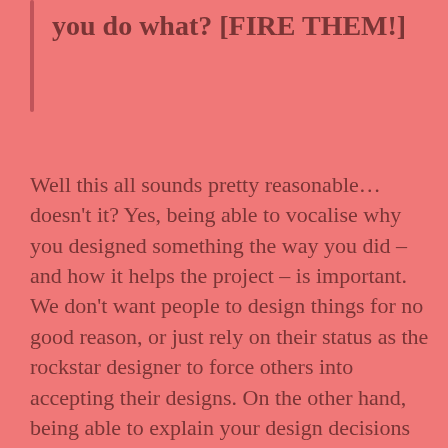you do what? [FIRE THEM!]
Well this all sounds pretty reasonable... doesn't it? Yes, being able to vocalise why you designed something the way you did – and how it helps the project – is important. We don't want people to design things for no good reason, or just rely on their status as the rockstar designer to force others into accepting their designs. On the other hand, being able to explain your design decisions